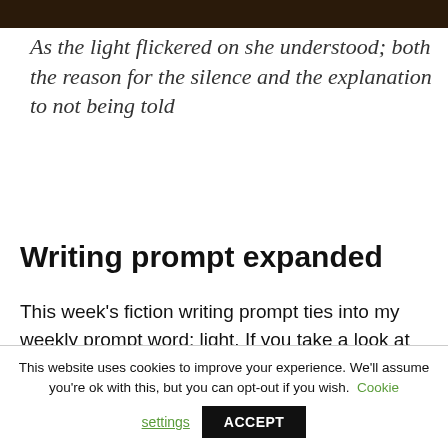[Figure (photo): Dark brown/black image strip at top of page, appears to be a cropped photo]
As the light flickered on she understood; both the reason for the silence and the explanation to not being told
Writing prompt expanded
This week's fiction writing prompt ties into my weekly prompt word; light. If you take a look at light in the dictionary you'll find many uses for it
This website uses cookies to improve your experience. We'll assume you're ok with this, but you can opt-out if you wish. Cookie settings ACCEPT